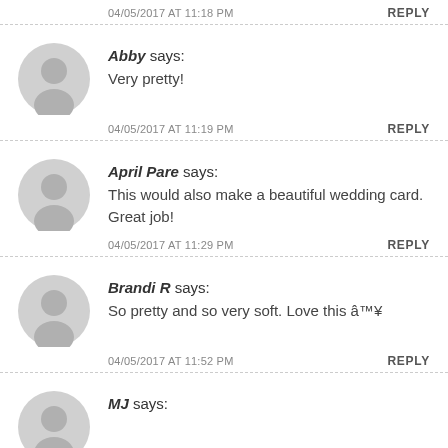04/05/2017 AT 11:18 PM   REPLY
Abby says: Very pretty!
04/05/2017 AT 11:19 PM   REPLY
April Pare says: This would also make a beautiful wedding card. Great job!
04/05/2017 AT 11:29 PM   REPLY
Brandi R says: So pretty and so very soft. Love this â™¥
04/05/2017 AT 11:52 PM   REPLY
MJ says: